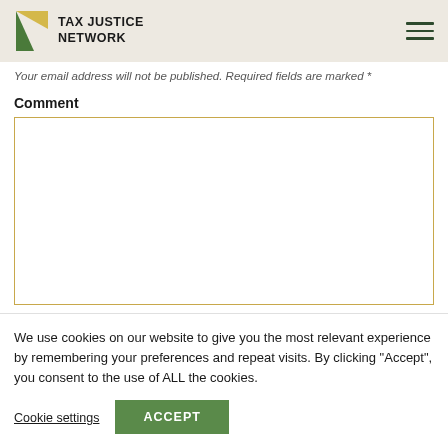Tax Justice Network
Your email address will not be published. Required fields are marked *
Comment
We use cookies on our website to give you the most relevant experience by remembering your preferences and repeat visits. By clicking “Accept”, you consent to the use of ALL the cookies.
Cookie settings | ACCEPT